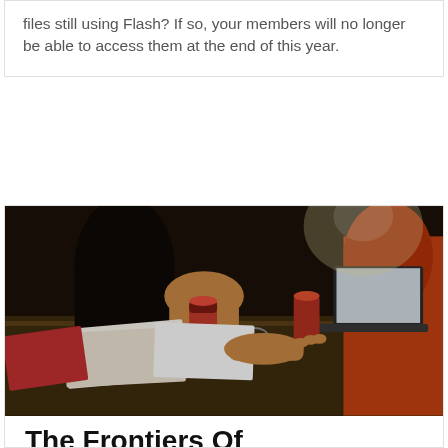files still using Flash? If so, your members will no longer be able to access them at the end of this year.
[Figure (photo): People sitting around a table at a meeting or work session, with drinks, papers, books, glasses, a laptop, and hands visible. Warm lighting with a dark background.]
The Frontiers Of Innovation